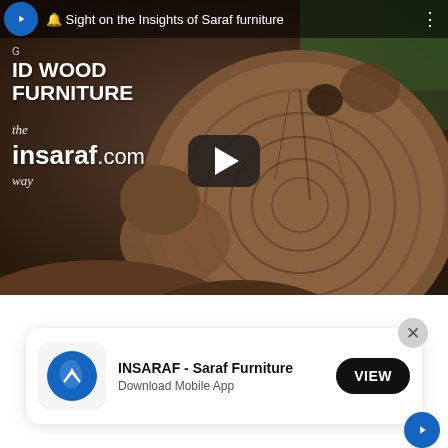[Figure (screenshot): YouTube video thumbnail showing a large wooden cross-section log with tree rings visible. Video title bar at top reads 'Sight on the Insights of Saraf furniture'. Overlay text shows 'SOLID WOOD FURNITURE', 'the', 'insaraf.com', 'way'. Play button in center.]
INSARAF - Saraf Furniture
Download Mobile App
VIEW